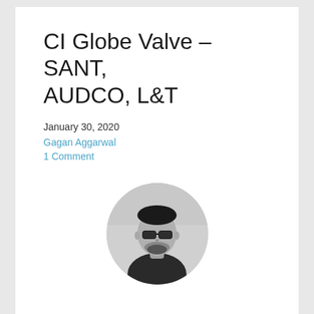CI Globe Valve – SANT, AUDCO, L&T
January 30, 2020
Gagan Aggarwal
1 Comment
[Figure (photo): Circular portrait photo of a man wearing sunglasses, black and white/grayscale image]